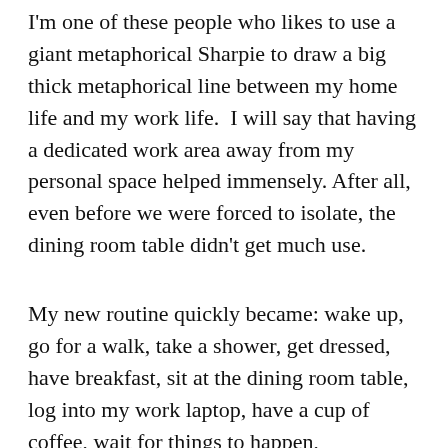I'm one of these people who likes to use a giant metaphorical Sharpie to draw a big thick metaphorical line between my home life and my work life.  I will say that having a dedicated work area away from my personal space helped immensely. After all, even before we were forced to isolate, the dining room table didn't get much use.
My new routine quickly became: wake up, go for a walk, take a shower, get dressed, have breakfast, sit at the dining room table, log into my work laptop, have a cup of coffee, wait for things to happen,